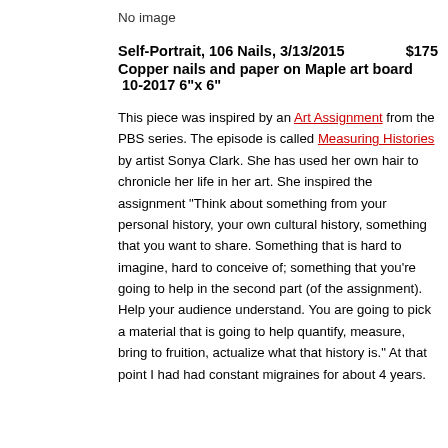No image
Self-Portrait, 106 Nails, 3/13/2015   $175
Copper nails and paper on Maple art board  10-2017 6"x 6"
This piece was inspired by an Art Assignment from the PBS series. The episode is called Measuring Histories by artist Sonya Clark. She has used her own hair to chronicle her life in her art. She inspired the assignment “Think about something from your personal history, your own cultural history, something that you want to share. Something that is hard to imagine, hard to conceive of; something that you’re going to help in the second part (of the assignment). Help your audience understand. You are going to pick a material that is going to help quantify, measure, bring to fruition, actualize what that history is.” At that point I had had constant migraines for about 4 years.